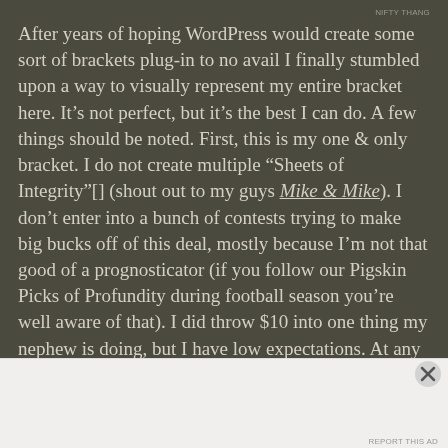NIFTY THANG
After years of hoping WordPress would create some sort of brackets plug-in to no avail I finally stumbled upon a way to visually represent my entire bracket here. It's not perfect, but it's the best I can do. A few things should be noted. First, this is my one & only bracket. I do not create multiple “Sheets of Integrity”[] (shout out to my guys Mike & Mike). I don’t enter into a bunch of contests trying to make big bucks off of this deal, mostly because I’m not that good of a prognosticator (if you follow our Pigskin Picks of Profundity during football season you’re well aware of that). I did throw $10 into one thing my nephew is doing, but I have low expectations. At any rate, this is really just a way for me to have some fun & make the games a bit more interesting, especially since neither my alma
Advertisements
Getting your team on the same page is easy. And free.